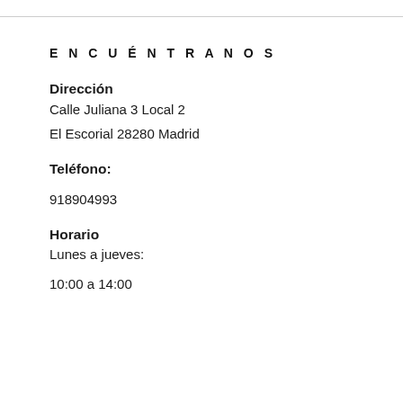ENCUÉNTRANOS
Dirección
Calle Juliana 3 Local 2
El Escorial 28280 Madrid
Teléfono:
918904993
Horario
Lunes a jueves:
10:00 a 14:00